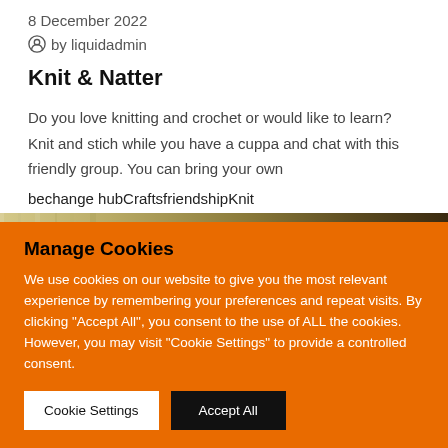8 December 2022
by liquidadmin
Knit & Natter
Do you love knitting and crochet or would like to learn? Knit and stich while you have a cuppa and chat with this friendly group. You can bring your own
bechange hubCraftsfriendshipKnit
[Figure (photo): Partial view of a room, appears to be an interior space with windows and furniture, partially cut off by cookie banner overlay.]
Manage Cookies
We use cookies on our website to give you the most relevant experience by remembering your preferences and repeat visits. By clicking "Accept All", you consent to the use of ALL the cookies. However, you may visit "Cookie Settings" to provide a controlled consent.
Cookie Settings   Accept All